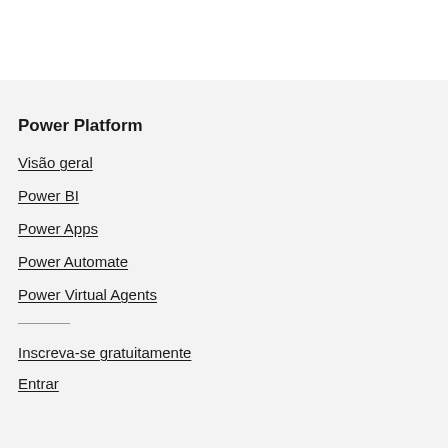Power Platform
Visão geral
Power BI
Power Apps
Power Automate
Power Virtual Agents
Inscreva-se gratuitamente
Entrar